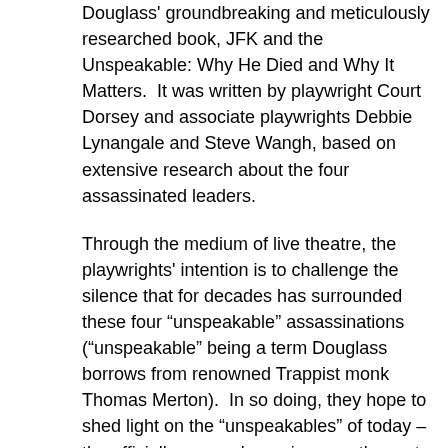Douglass' groundbreaking and meticulously researched book, JFK and the Unspeakable: Why He Died and Why It Matters.  It was written by playwright Court Dorsey and associate playwrights Debbie Lynangale and Steve Wangh, based on extensive research about the four assassinated leaders.
Through the medium of live theatre, the playwrights' intention is to challenge the silence that for decades has surrounded these four “unspeakable” assassinations (“unspeakable” being a term Douglass borrows from renowned Trappist monk Thomas Merton).  In so doing, they hope to shed light on the “unspeakables” of today – the officially covered-up crimes on the part of elements within the U.S. government and their corporate allies that have led to or worsened the multiple crises that currently beset our country and the world.